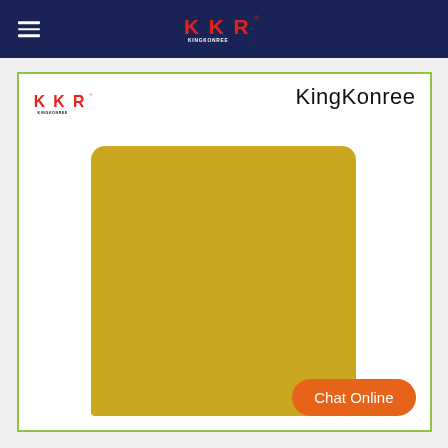KKR KINGKONREE (navigation bar with logo)
[Figure (screenshot): KingKonree product page screenshot showing a yellow/gold solid surface slab panel displayed within a green-bordered product card. The card contains the KKR KingKonree logo at top-left, 'KingKonree' brand text at top-right, and a large mustard-yellow rectangular slab in the center. An orange 'Chat Online' button appears at the bottom-right of the card.]